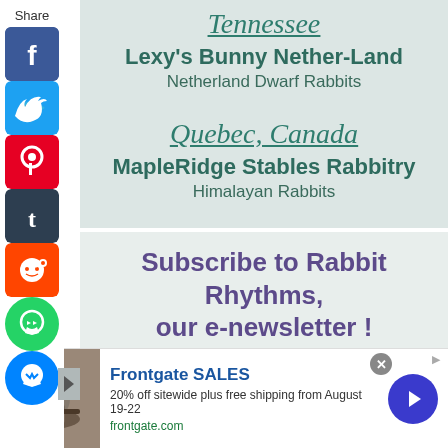Share
Tennessee
Lexy's Bunny Nether-Land
Netherland Dwarf Rabbits
Quebec, Canada
MapleRidge Stables Rabbitry
Himalayan Rabbits
Subscribe to Rabbit Rhythms, our e-newsletter !
Get rabbit news, husbandry and health tips
[Figure (infographic): Frontgate advertisement with outdoor furniture image, 'Frontgate SALES' heading, '20% off sitewide plus free shipping from August 19-22', frontgate.com URL, close button and arrow navigation button]